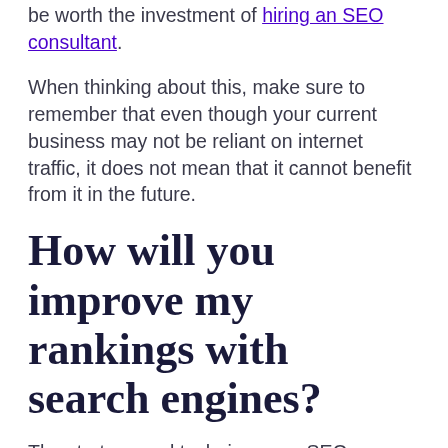be worth the investment of hiring an SEO consultant.
When thinking about this, make sure to remember that even though your current business may not be reliant on internet traffic, it does not mean that it cannot benefit from it in the future.
How will you improve my rankings with search engines?
The strategy and techniques an SEO consultant